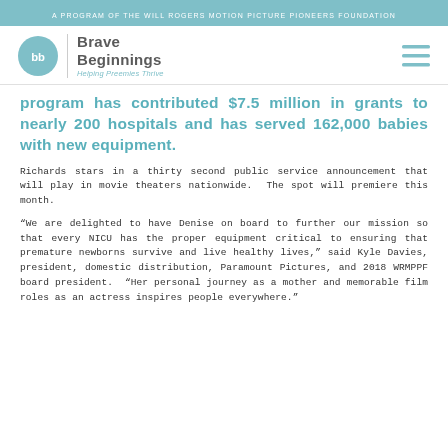A PROGRAM OF THE WILL ROGERS MOTION PICTURE PIONEERS FOUNDATION
[Figure (logo): Brave Beginnings logo with teal circle containing 'bb' initials, vertical divider, and text 'Brave Beginnings / Helping Preemies Thrive'. Hamburger menu icon on right.]
program has contributed $7.5 million in grants to nearly 200 hospitals and has served 162,000 babies with new equipment.
Richards stars in a thirty second public service announcement that will play in movie theaters nationwide.  The spot will premiere this month.
“We are delighted to have Denise on board to further our mission so that every NICU has the proper equipment critical to ensuring that premature newborns survive and live healthy lives,” said Kyle Davies, president, domestic distribution, Paramount Pictures, and 2018 WRMPPF board president.  “Her personal journey as a mother and memorable film roles as an actress inspires people everywhere.”